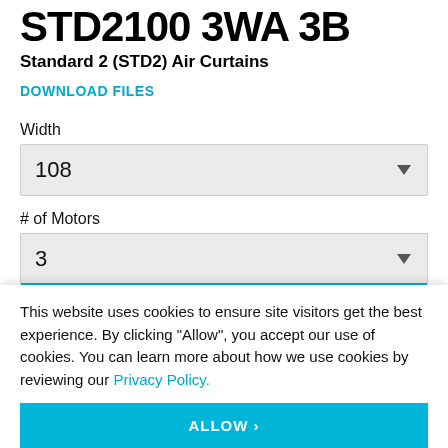STD2100 3WA 3B
Standard 2 (STD2) Air Curtains
DOWNLOAD FILES
Width
108
# of Motors
3
This website uses cookies to ensure site visitors get the best experience. By clicking "Allow", you accept our use of cookies. You can learn more about how we use cookies by reviewing our Privacy Policy.
ALLOW >